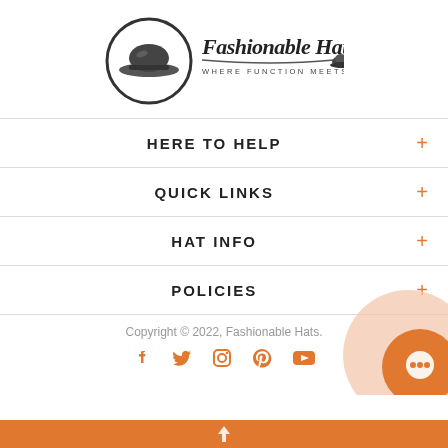[Figure (logo): Fashionable Hats logo with circular hat icon and text 'Fashionable Hats - Where Function Meets Fashion']
HERE TO HELP +
QUICK LINKS +
HAT INFO +
POLICIES +
Copyright © 2022, Fashionable Hats.
[Figure (illustration): Social media icons: Facebook, Twitter, Instagram, Pinterest, YouTube in orange]
[Figure (illustration): Orange chat bubble circle icon in bottom right corner]